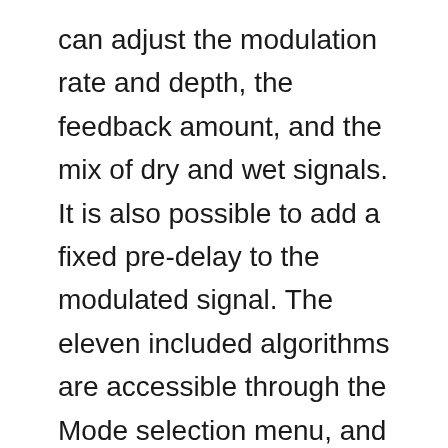can adjust the modulation rate and depth, the feedback amount, and the mix of dry and wet signals. It is also possible to add a fixed pre-delay to the modulated signal. The eleven included algorithms are accessible through the Mode selection menu, and each mode includes a brief description that explains its modulation type.
The user interface is freely resizable, so there won't be any display issues if you're using a high-resolution screen. The plugin also features a preset manager. There are over 70 presets to choose from, and the user can save their favorite settings as presets for later.